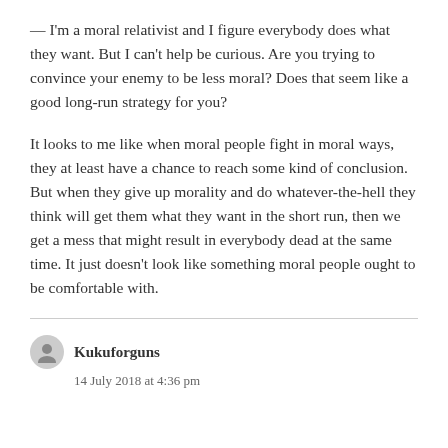— I'm a moral relativist and I figure everybody does what they want. But I can't help be curious. Are you trying to convince your enemy to be less moral? Does that seem like a good long-run strategy for you?
It looks to me like when moral people fight in moral ways, they at least have a chance to reach some kind of conclusion. But when they give up morality and do whatever-the-hell they think will get them what they want in the short run, then we get a mess that might result in everybody dead at the same time. It just doesn't look like something moral people ought to be comfortable with.
Kukuforguns
14 July 2018 at 4:36 pm